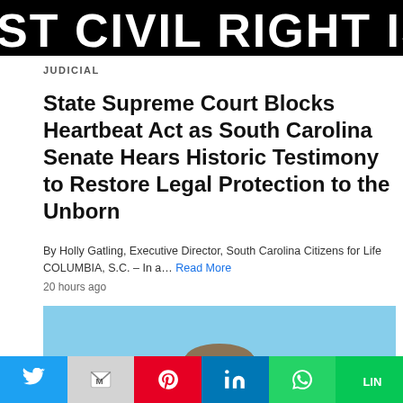ST CIVIL RIGHT IS THE RIGHT
JUDICIAL
State Supreme Court Blocks Heartbeat Act as South Carolina Senate Hears Historic Testimony to Restore Legal Protection to the Unborn
By Holly Gatling, Executive Director, South Carolina Citizens for Life
COLUMBIA, S.C. – In a… Read More
20 hours ago
[Figure (illustration): Illustration of a judge in black robes sitting at a bench with a gavel, with scales of justice on the left, light blue background]